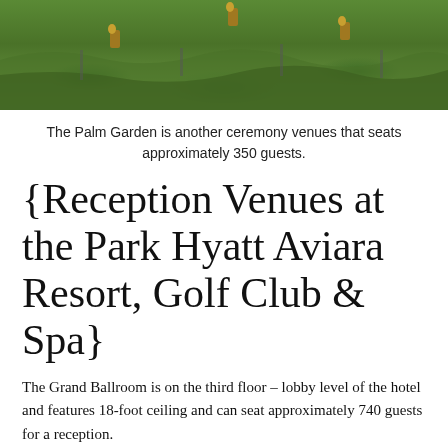[Figure (photo): Outdoor garden venue with green grass lawn, stone pathway steps, and lantern lights. Park Hyatt Aviara ceremony venue - Palm Garden.]
The Palm Garden is another ceremony venues that seats approximately 350 guests.
{Reception Venues at the Park Hyatt Aviara Resort, Golf Club & Spa}
The Grand Ballroom is on the third floor – lobby level of the hotel and features 18-foot ceiling and can seat approximately 740 guests for a reception.
[Figure (photo): Interior photo of a hotel ballroom ceiling with warm golden/orange color and an ornate chandelier, coffered ceiling panels visible.]